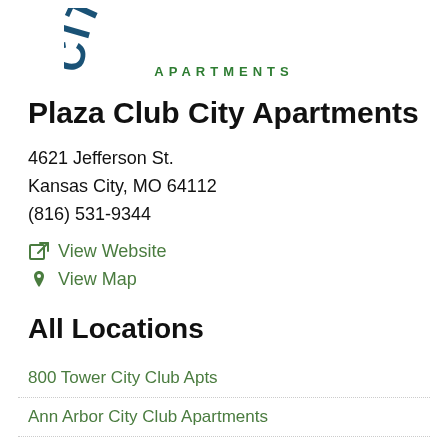[Figure (logo): City Club Apartments logo — partial arc text 'CITY CLUB' with 'APARTMENTS' below in teal/green spaced lettering]
Plaza Club City Apartments
4621 Jefferson St.
Kansas City, MO 64112
(816) 531-9344
View Website
View Map
All Locations
800 Tower City Club Apts
Ann Arbor City Club Apartments